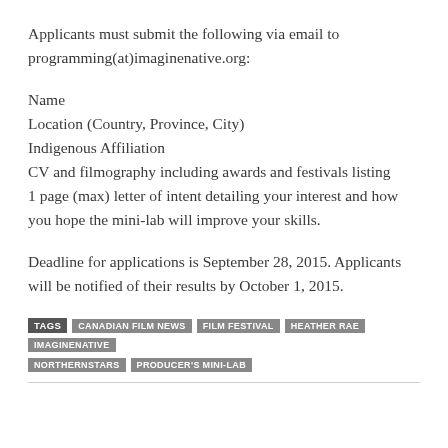Applicants must submit the following via email to programming(at)imaginenative.org:
Name
Location (Country, Province, City)
Indigenous Affiliation
CV and filmography including awards and festivals listing
1 page (max) letter of intent detailing your interest and how you hope the mini-lab will improve your skills.
Deadline for applications is September 28, 2015. Applicants will be notified of their results by October 1, 2015.
TAGS  CANADIAN FILM NEWS  FILM FESTIVAL  HEATHER RAE  IMAGINENATIVE  NORTHERNSTARS  PRODUCER'S MINI-LAB